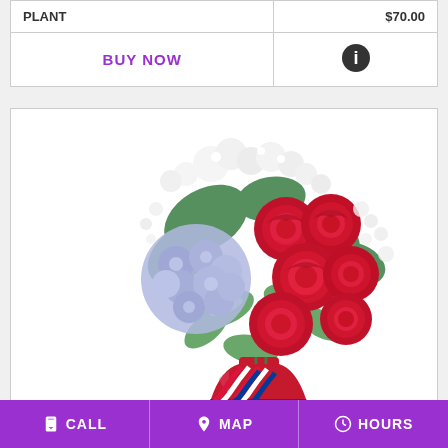| PLANT | $70.00 |
| --- | --- |
| BUY NOW | ℹ |
[Figure (photo): Floral arrangement in a red vase featuring red roses, blue hydrangeas, white baby's breath, and green foliage with a red, white, and blue ribbon.]
CALL   MAP   HOURS